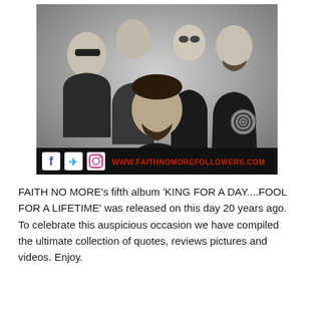[Figure (photo): Black and white group photo of the band Faith No More (5 members). At the bottom of the image is a banner with social media icons (Facebook, Twitter, Instagram) and the red text 'WWW.FAITHNOMOREFOLLOWERS.COM']
FAITH NO MORE's fifth album 'KING FOR A DAY....FOOL FOR A LIFETIME' was released on this day 20 years ago. To celebrate this auspicious occasion we have compiled the ultimate collection of quotes, reviews pictures and videos. Enjoy.